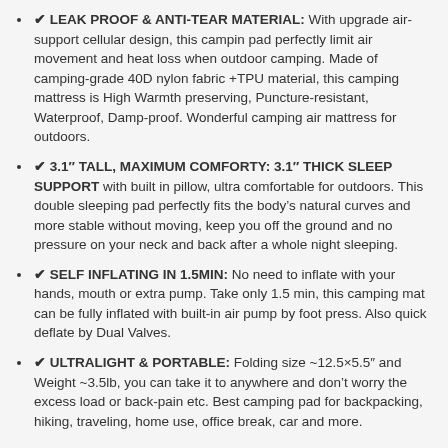✔ LEAK PROOF & ANTI-TEAR MATERIAL: With upgrade air-support cellular design, this campin pad perfectly limit air movement and heat loss when outdoor camping. Made of camping-grade 40D nylon fabric +TPU material, this camping mattress is High Warmth preserving, Puncture-resistant, Waterproof, Damp-proof. Wonderful camping air mattress for outdoors.
✔ 3.1" TALL, MAXIMUM COMFORTY: 3.1" THICK SLEEP SUPPORT with built in pillow, ultra comfortable for outdoors. This double sleeping pad perfectly fits the body's natural curves and more stable without moving, keep you off the ground and no pressure on your neck and back after a whole night sleeping.
✔ SELF INFLATING IN 1.5MIN: No need to inflate with your hands, mouth or extra pump. Take only 1.5 min, this camping mat can be fully inflated with built-in air pump by foot press. Also quick deflate by Dual Valves.
✔ ULTRALIGHT & PORTABLE: Folding size ~12.5×5.5" and Weight ~3.5lb, you can take it to anywhere and don't worry the excess load or back-pain etc. Best camping pad for backpacking, hiking, traveling, home use, office break, car and more.